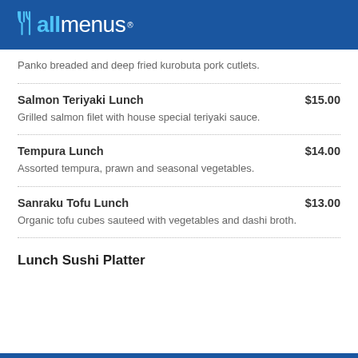allmenus
Panko breaded and deep fried kurobuta pork cutlets.
Salmon Teriyaki Lunch    $15.00
Grilled salmon filet with house special teriyaki sauce.
Tempura Lunch    $14.00
Assorted tempura, prawn and seasonal vegetables.
Sanraku Tofu Lunch    $13.00
Organic tofu cubes sauteed with vegetables and dashi broth.
Lunch Sushi Platter